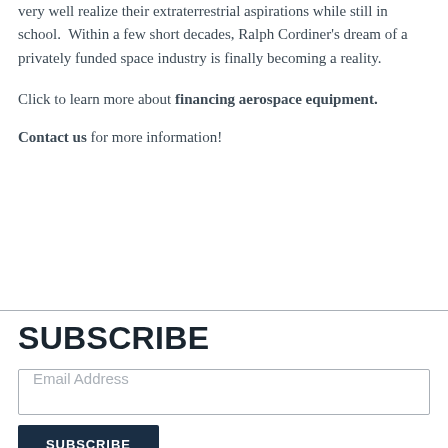very well realize their extraterrestrial aspirations while still in school.  Within a few short decades, Ralph Cordiner's dream of a privately funded space industry is finally becoming a reality.
Click to learn more about financing aerospace equipment.
Contact us for more information!
SUBSCRIBE
Email Address
SUBSCRIBE